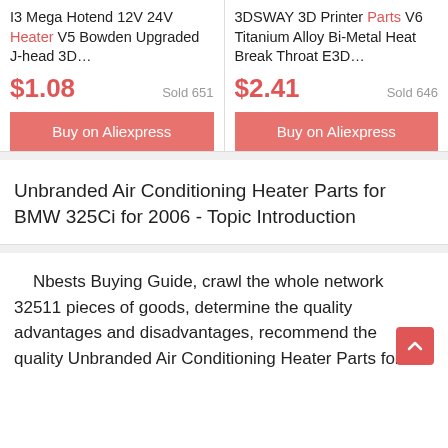I3 Mega Hotend 12V 24V Heater V5 Bowden Upgraded J-head 3D…
$1.08  Sold 651
Buy on Aliexpress
3DSWAY 3D Printer Parts V6 Titanium Alloy Bi-Metal Heat Break Throat E3D…
$2.41  Sold 646
Buy on Aliexpress
Unbranded Air Conditioning Heater Parts for BMW 325Ci for 2006 - Topic Introduction
Nbests Buying Guide, crawl the whole network 32511 pieces of goods, determine the quality advantages and disadvantages, recommend the quality Unbranded Air Conditioning Heater Parts for